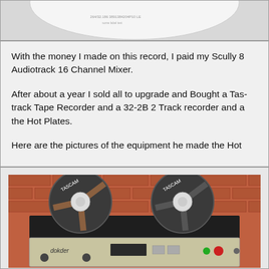[Figure (photo): Partial view of a white record/disc label with text, shown from above against a gray background.]
With the money I made on this record, I paid my Scully 8 Audiotrack 16 Channel Mixer.

After about a year I sold all to upgrade and Bought a Tas- track Tape Recorder and a 32-2B 2 Track recorder and a the Hot Plates.

Here are the pictures of the equipment he made the Hot
[Figure (photo): Photo of a reel-to-reel tape recorder (appears to be a Dokorder or similar brand) with two large tape reels, set against a brick wall background.]